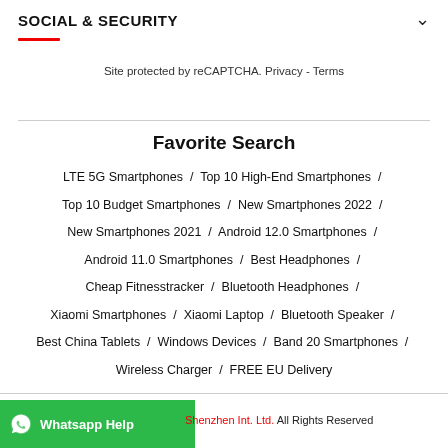SOCIAL & SECURITY
Site protected by reCAPTCHA. Privacy - Terms
Favorite Search
LTE 5G Smartphones / Top 10 High-End Smartphones / Top 10 Budget Smartphones / New Smartphones 2022 / New Smartphones 2021 / Android 12.0 Smartphones / Android 11.0 Smartphones / Best Headphones / Cheap Fitnesstracker / Bluetooth Headphones / Xiaomi Smartphones / Xiaomi Laptop / Bluetooth Speaker / Best China Tablets / Windows Devices / Band 20 Smartphones / Wireless Charger / FREE EU Delivery
Whatsapp Help
Shenzhen Int. Ltd. All Rights Reserved